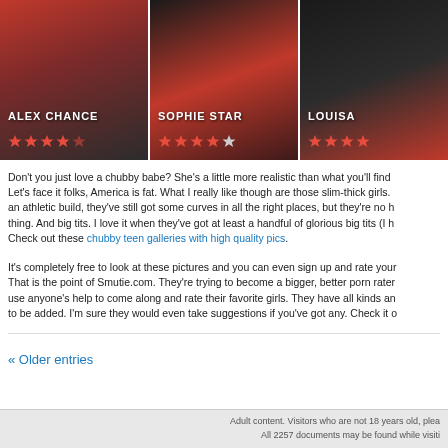[Figure (photo): Three cropped photos of women side by side with name overlays: ALEX CHANCE (5-star rating), SOPHIE STAR (4-star rating), LOUISA (partially visible, 3+ star rating)]
Don't you just love a chubby babe? She's a little more realistic than what you'll find ... Let's face it folks, America is fat. What I really like though are those slim-thick girls. ... an athletic build, they've still got some curves in all the right places, but they're no h... thing. And big tits. I love it when they've got at least a handful of glorious big tits (I h... Check out these chubby teen galleries with high quality pics.
It's completely free to look at these pictures and you can even sign up and rate your... That is the point of Smutie.com. They're trying to become a bigger, better porn rater... use anyone's help to come along and rate their favorite girls. They have all kinds an... to be added. I'm sure they would even take suggestions if you've got any. Check it o...
« Older entries
Adult content. Visitors who are not 18 years old, plea... All 2257 documents may be found while visiti...